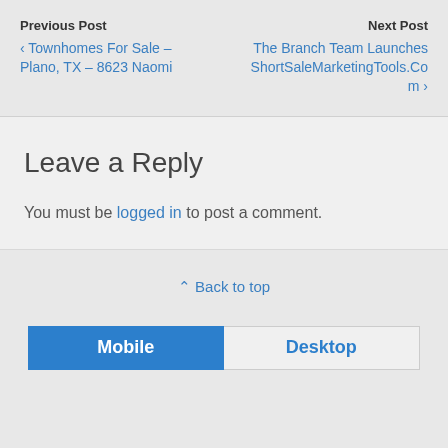Previous Post
‹ Townhomes For Sale – Plano, TX – 8623 Naomi
Next Post
The Branch Team Launches ShortSaleMarketingTools.Com ›
Leave a Reply
You must be logged in to post a comment.
⌃ Back to top
Mobile   Desktop